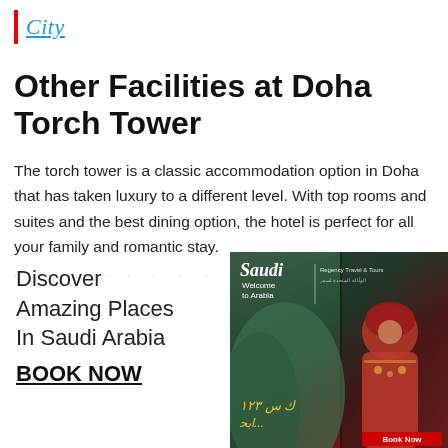City
Other Facilities at Doha Torch Tower
The torch tower is a classic accommodation option in Doha that has taken luxury to a different level. With top rooms and suites and the best dining option, the hotel is perfect for all your family and romantic stay.
· · · · · · · · · ·
Discover Amazing Places In Saudi Arabia BOOK NOW
[Figure (photo): Advertisement photo showing a girl in traditional Saudi red dress/headscarf, with Saudi Arabia tourism branding 'Saudi Welcome to Arabia' and 'Regency Travel & Tours' text, and a 'Book Now' button at the bottom.]